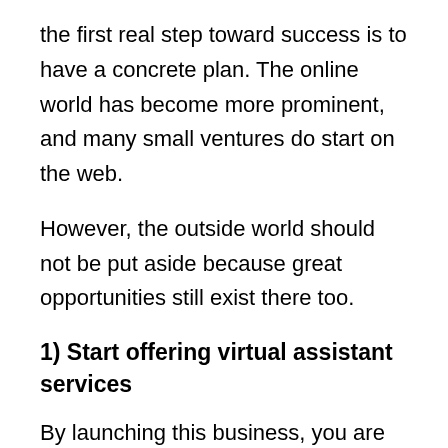the first real step toward success is to have a concrete plan. The online world has become more prominent, and many small ventures do start on the web.
However, the outside world should not be put aside because great opportunities still exist there too.
1) Start offering virtual assistant services
By launching this business, you are basically self-employed, can make up your own schedule, and choose the clients you work with. Your job is to complete administrative tasks for clients